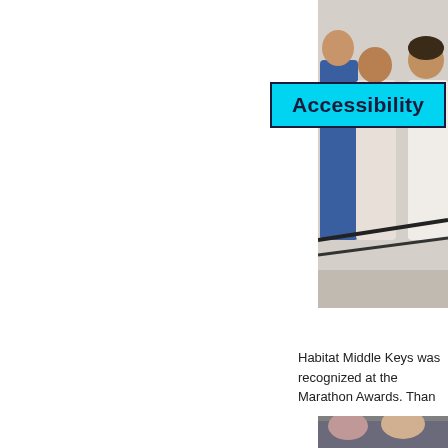[Figure (photo): Group of people standing together at an event, partially cropped on the right side of the page]
Accessibility
Habitat Middle Keys was recognized at the Marathon Awards. Than
[Figure (photo): People seated at an event or meeting, partially cropped on right side of the page]